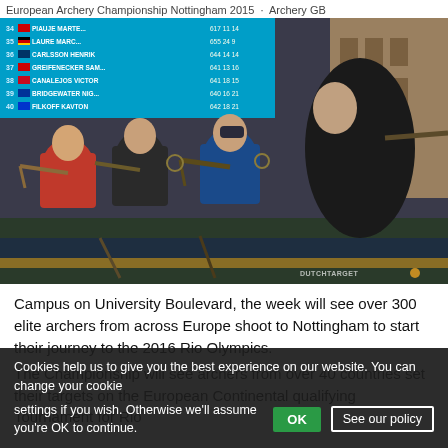European Archery Championship Nottingham 2015 Archery GB
[Figure (photo): Multiple male archers aiming compound bows at a European archery competition, with a blue electronic scoreboard visible in the background showing rankings 34-41, and a brick building to the right. Watermark reads DUTCHTARGET.]
Campus on University Boulevard, the week will see over 300 elite archers from across Europe shoot to Nottingham to start their journey to the 2016 Rio Olympics.
The Championship will see archers from over 40 countries set their targets on the European Continental qualifying Tournament for Rio
Cookies help us to give you the best experience on our website. You can change your cookie settings if you wish. Otherwise we'll assume you're OK to continue.